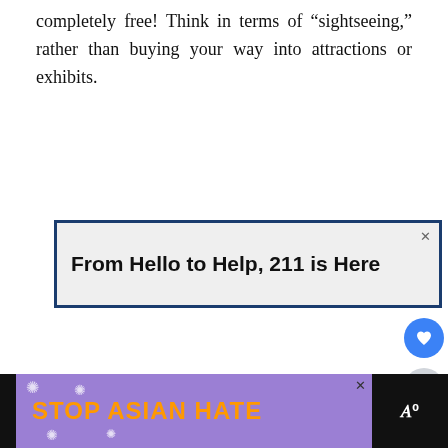completely free! Think in terms of “sightseeing,” rather than buying your way into attractions or exhibits.
[Figure (screenshot): Advertisement box with dark blue border on light gray background reading 'From Hello to Help, 211 is Here' with an X close button in top right corner]
[Figure (screenshot): Side UI buttons: blue circle with heart icon and gray circle with share icon, plus a 'What's Next' card showing 'Family Travel to Carmel-b...' with a thumbnail image]
[Figure (screenshot): Bottom banner advertisement on purple background with orange bold text 'STOP ASIAN HATE', floral decorations, an anime figure, an X close button, and a black panel on the right with 'W' logo]